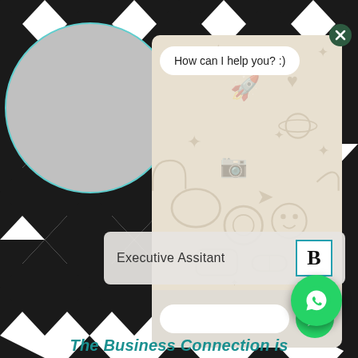[Figure (screenshot): WhatsApp Business chat widget screenshot showing a chat interface with message 'How can I help you? :)', a patterned background with doodle icons, an input field, and a send button. Below is a label 'Executive Assitant' with a B logo and WhatsApp icon. Background is black/white chevron pattern. Bottom text reads 'The Business Connection is' in teal italic.]
How can I help you? :)
Executive Assitant
The Business Connection is